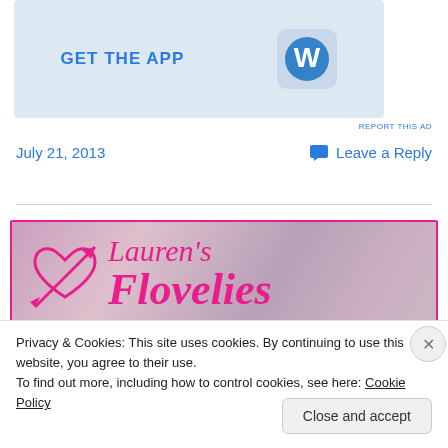[Figure (screenshot): Advertisement banner with 'GET THE APP' text and WordPress logo on light blue background]
REPORT THIS AD
July 21, 2013
Leave a Reply
[Figure (logo): Lauren's Flovelies blog banner with pink heart-and-arrow logo, serif italic text in magenta pink on blurred floral background with daisy]
Privacy & Cookies: This site uses cookies. By continuing to use this website, you agree to their use.
To find out more, including how to control cookies, see here: Cookie Policy
Close and accept